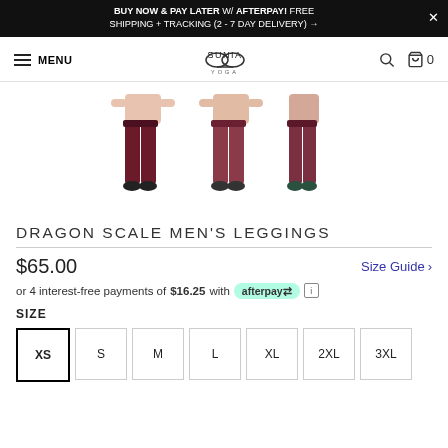BUY NOW & PAY LATER W/ AFTERPAY! FREE SHIPPING + TRACKING (2 - 7 DAY DELIVERY) →
[Figure (logo): SUNIA YOGA logo with infinity-like symbol]
[Figure (photo): Three views of Dragon Scale Men's Leggings in dark red/maroon color worn by male models]
DRAGON SCALE MEN'S LEGGINGS
$65.00
Size Guide >
or 4 interest-free payments of $16.25 with afterpay
SIZE
XS
S
M
L
XL
2XL
3XL